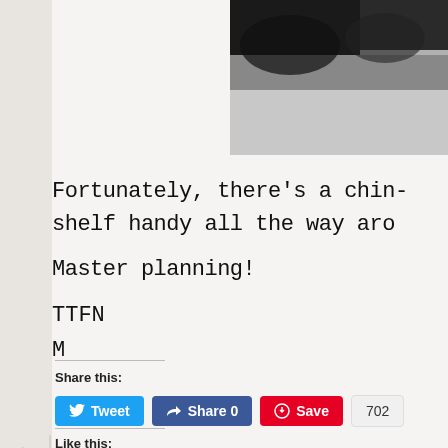[Figure (photo): Partial photo of a black and white animal (likely a cat or dog) on a light background, cropped in upper right of page]
Fortunately, there's a chin-shelf handy all the way aro
Master planning!
TTFN
M
Share this:
Tweet   Share 0   Save   702
Like this:
Like